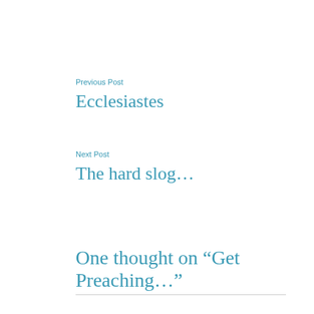Previous Post
Ecclesiastes
Next Post
The hard slog…
One thought on “Get Preaching…”